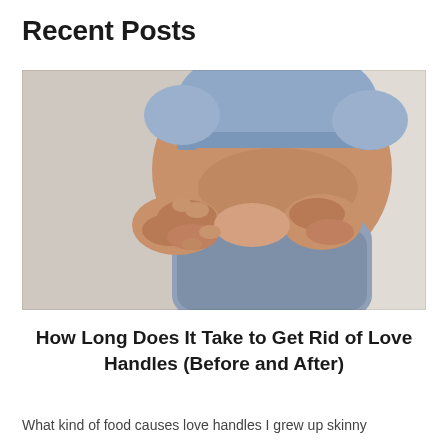Recent Posts
[Figure (photo): A woman in a blue sports bra and leggings pinching her side/love handle area with both hands against a light background.]
How Long Does It Take to Get Rid of Love Handles (Before and After)
What kind of food causes love handles I grew up skinny